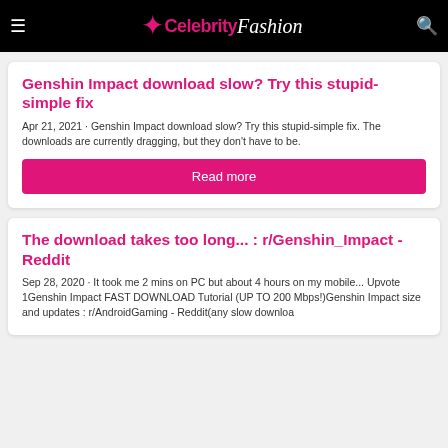Celebrity Fashion
Genshin Impact download slow? Try this stupid-simple fix
Apr 21, 2021 · Genshin Impact download slow? Try this stupid-simple fix. The downloads are currently dragging, but they don't have to be.
Read more
The download takes too long... : r/Genshin_Impact - Reddit
Sep 28, 2020 · It took me 2 mins on PC but about 4 hours on my mobile... Upvote 1Genshin Impact FAST DOWNLOAD Tutorial (UP TO 200 Mbps!)Genshin Impact size and updates : r/AndroidGaming - Reddit(any slow downloa